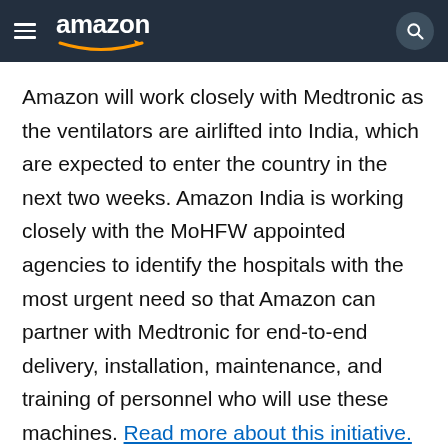amazon
Amazon will work closely with Medtronic as the ventilators are airlifted into India, which are expected to enter the country in the next two weeks. Amazon India is working closely with the MoHFW appointed agencies to identify the hospitals with the most urgent need so that Amazon can partner with Medtronic for end-to-end delivery, installation, maintenance, and training of personnel who will use these machines. Read more about this initiative.